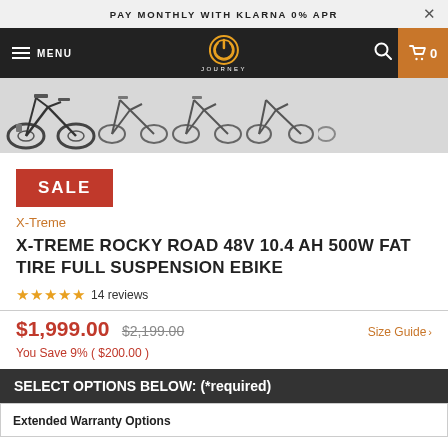PAY MONTHLY WITH KLARNA 0% APR
[Figure (screenshot): Navigation bar with hamburger menu, MENU text, Journey power button logo, search icon, and cart icon with 0 items]
[Figure (photo): Row of 5 electric fat tire bike thumbnail images in grayscale]
SALE
X-Treme
X-TREME ROCKY ROAD 48V 10.4 AH 500W FAT TIRE FULL SUSPENSION EBIKE
14 reviews
$1,999.00 $2,199.00 You Save 9% ( $200.00 )
Size Guide
SELECT OPTIONS BELOW: (*required)
Extended Warranty Options